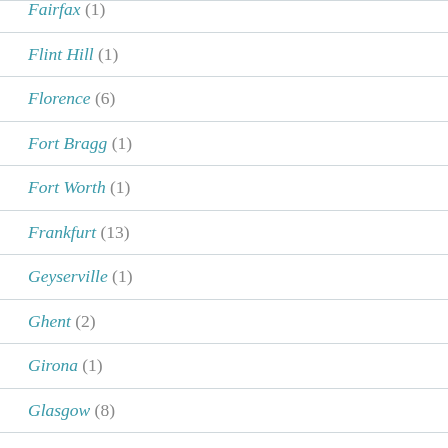Fairfax (1)
Flint Hill (1)
Florence (6)
Fort Bragg (1)
Fort Worth (1)
Frankfurt (13)
Geyserville (1)
Ghent (2)
Girona (1)
Glasgow (8)